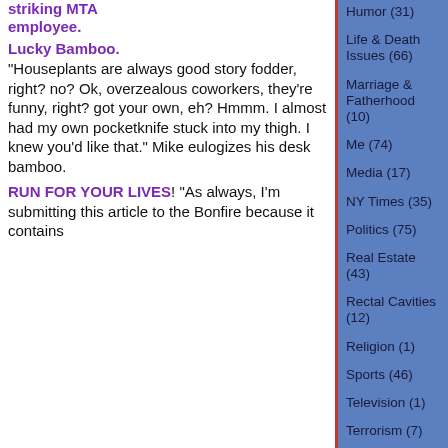striking MTA employee.
Lucky Bamboo. "Houseplants are always good story fodder, right? no? Ok, overzealous coworkers, they're funny, right? got your own, eh? Hmmm. I almost had my own pocketknife stuck into my thigh. I knew you'd like that." Mike eulogizes his desk bamboo.
RUN FOR YOUR LIVES! "As always, I'm submitting this article to the Bonfire because it contains
Humor (31)
Life & Death Issues (66)
Marriage & Fatherhood (10)
Me (74)
Media (17)
NY Times (35)
Politics (75)
Real Estate (43)
Rectal Cavities (12)
Religion (1)
Sports (46)
Television (1)
Terrorism (7)
Web/Tech (8)
Weblogs (33)
Archives
September 2006